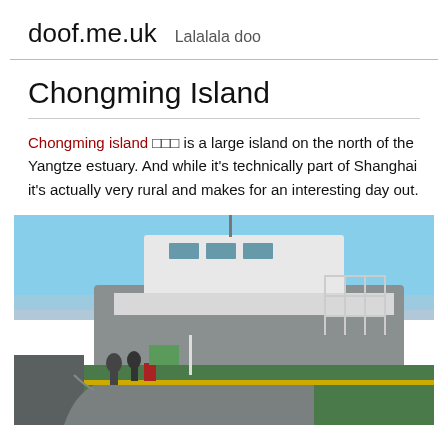doof.me.uk   Lalalala doo
Chongming Island
Chongming island □□□ is a large island on the north of the Yangtze estuary. And while it's technically part of Shanghai it's actually very rural and makes for an interesting day out.
[Figure (photo): A ferry boat docked at a pier on the Yangtze River estuary, with passengers visible on the green-painted deck. Blue sky in the background.]